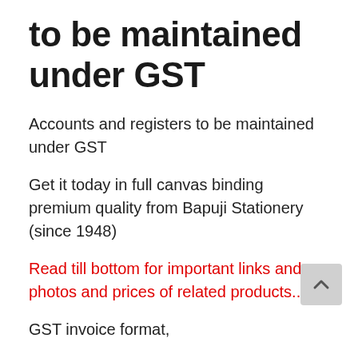to be maintained under GST
Accounts and registers to be maintained under GST
Get it today in full canvas binding premium quality from Bapuji Stationery (since 1948)
Read till bottom for important links and photos and prices of related products..
GST invoice format,
Input tax credit availed
GST Stock register,